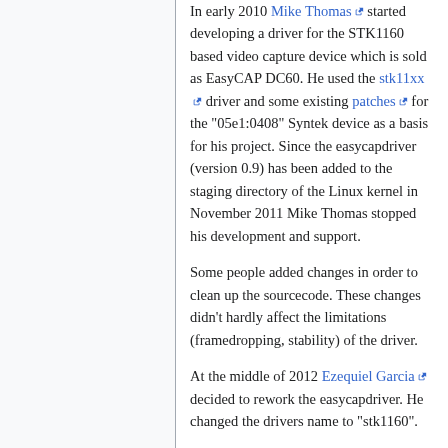In early 2010 Mike Thomas started developing a driver for the STK1160 based video capture device which is sold as EasyCAP DC60. He used the stk11xx driver and some existing patches for the "05e1:0408" Syntek device as a basis for his project. Since the easycapdriver (version 0.9) has been added to the staging directory of the Linux kernel in November 2011 Mike Thomas stopped his development and support.
Some people added changes in order to clean up the sourcecode. These changes didn't hardly affect the limitations (framedropping, stability) of the driver.
At the middle of 2012 Ezequiel Garcia decided to rework the easycapdriver. He changed the drivers name to "stk1160".